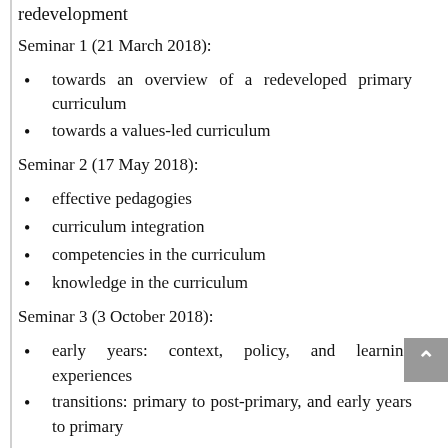redevelopment
Seminar 1 (21 March 2018):
towards an overview of a redeveloped primary curriculum
towards a values-led curriculum
Seminar 2 (17 May 2018):
effective pedagogies
curriculum integration
competencies in the curriculum
knowledge in the curriculum
Seminar 3 (3 October 2018):
early years: context, policy, and learning experiences
transitions: primary to post-primary, and early years to primary